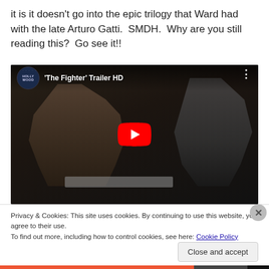it is it doesn't go into the epic trilogy that Ward had with the late Arturo Gatti.  SMDH.  Why are you still reading this?  Go see it!!
[Figure (screenshot): YouTube video thumbnail/embed showing 'The Fighter' Trailer HD with Hollywood logo channel icon, two shirtless fighters at a scale, and a large red play button in the center]
Privacy & Cookies: This site uses cookies. By continuing to use this website, you agree to their use.
To find out more, including how to control cookies, see here: Cookie Policy